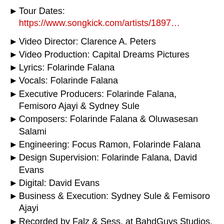Tour Dates: https://www.songkick.com/artists/1897…
Video Director: Clarence A. Peters
Video Production: Capital Dreams Pictures
Lyrics: Folarinde Falana
Vocals: Folarinde Falana
Executive Producers: Folarinde Falana, Femisoro Ajayi & Sydney Sule
Composers: Folarinde Falana & Oluwasesan Salami
Engineering: Focus Ramon, Folarinde Falana
Design Supervision: Folarinde Falana, David Evans
Digital: David Evans
Business & Execution: Sydney Sule & Femisoro Ajayi
Recorded by Falz & Sess, at BahdGuys Studios, Ikoyi, Lagos, Nigeria.
© BahdGuys Entertainment Limited, under exclusive license to The Jungle Family.